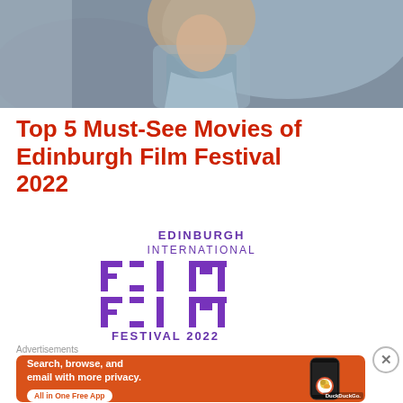[Figure (photo): Top portion of a photo showing a person, partially cropped, with a light blue-gray background]
Top 5 Must-See Movies of Edinburgh Film Festival 2022
[Figure (logo): Edinburgh International Film Festival 2022 logo with stylized FILM lettering in purple]
Film preview The Black Di...
Advertisements
[Figure (screenshot): DuckDuckGo advertisement banner: orange background with phone image, text 'Search, browse, and email with more privacy. All in One Free App', DuckDuckGo logo]